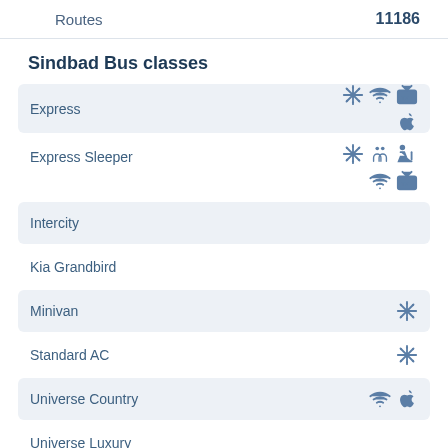Routes — 11186
Sindbad Bus classes
Express
Express Sleeper
Intercity
Kia Grandbird
Minivan
Standard AC
Universe Country
Universe Luxury
VIP